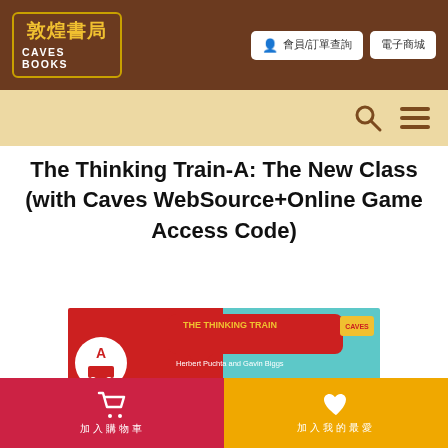敦煌書局 CAVES BOOKS
The Thinking Train-A: The New Class (with Caves WebSource+Online Game Access Code)
[Figure (illustration): Book cover for 'The Thinking Train: The New Class' by Herbert Puchta and Gavin Biggs. Red background with teal/blue right side. Shows a cartoon boy with dark hair looking at a chalkboard that reads 'THE NEW CLASS'. Top has a speech bubble shape with 'THE THINKING TRAIN' text. A circular badge with an 'A' and train icon is on the left.]